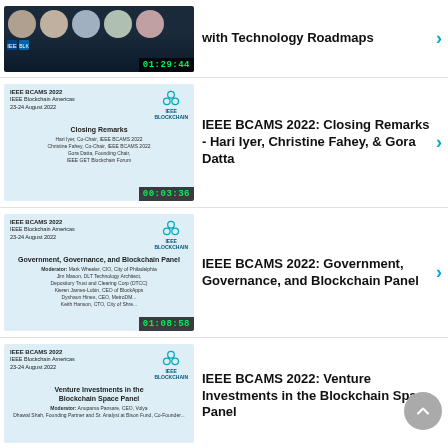[Figure (screenshot): Video thumbnail: panel of headshots on dark background, timer 01:29:44]
with Technology Roadmaps
[Figure (screenshot): IEEE BCAMS 2022 slide thumbnail: Closing Remarks - Hari Iyer, Christine Fahey, Gora Datta, timer 00:03:36]
IEEE BCAMS 2022: Closing Remarks - Hari Iyer, Christine Fahey, & Gora Datta
[Figure (screenshot): IEEE BCAMS 2022 slide thumbnail: Government, Governance, and Blockchain Panel, timer 01:08:58]
IEEE BCAMS 2022: Government, Governance, and Blockchain Panel
[Figure (screenshot): IEEE BCAMS 2022 slide thumbnail: Venture Investments in the Blockchain Space Panel]
IEEE BCAMS 2022: Venture Investments in the Blockchain Space Panel